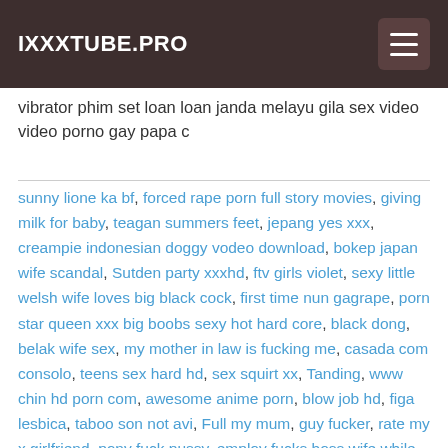IXXXTUBE.PRO
vibrator phim set loan loan janda melayu gila sex video video porno gay papa c
sunny lione ka bf, forced rape porn full story movies, giving milk for baby, teagan summers feet, jepang yes xxx, creampie indonesian doggy vodeo download, bokep japan wife scandal, Sutden party xxxhd, ftv girls violet, sexy little welsh wife loves big black cock, first time nun gagrape, porn star queen xxx big boobs sexy hot hard core, black dong, belak wife sex, my mother in law is fucking me, casada com consolo, teens sex hard hd, sex squirt xx, Tanding, www chin hd porn com, awesome anime porn, blow job hd, figa lesbica, taboo son not avi, Full my mum, guy fucker, rate my x girlfriend, pony fuck pussy, employ fucks boss wife while husband sleep, mother wait soon sex, mistress crossdresser, Punish and fisting ass wife, amateur sbt, vaginal head, boys grils vidio pro indo indain